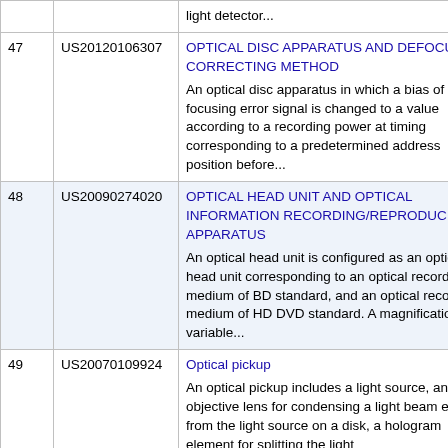| # | Patent ID | Title / Description |
| --- | --- | --- |
|  |  | light detector... |
| 47 | US20120106307 | OPTICAL DISC APPARATUS AND DEFOCUS CORRECTING METHOD
An optical disc apparatus in which a bias of a focusing error signal is changed to a value according to a recording power at timing corresponding to a predetermined address position before... |
| 48 | US20090274020 | OPTICAL HEAD UNIT AND OPTICAL INFORMATION RECORDING/REPRODUCING APPARATUS
An optical head unit is configured as an optical head unit corresponding to an optical recording medium of BD standard, and an optical recording medium of HD DVD standard. A magnification-variable... |
| 49 | US20070109924 | Optical pickup
An optical pickup includes a light source, an objective lens for condensing a light beam emitted from the light source on a disk, a hologram element for splitting the light |